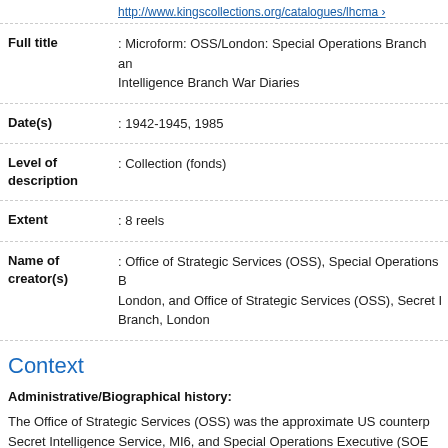http://www.kingscollections.org/catalogues/lhcma ›
| Full title | : Microform: OSS/London: Special Operations Branch and Intelligence Branch War Diaries |
| Date(s) | : 1942-1945, 1985 |
| Level of description | : Collection (fonds) |
| Extent | : 8 reels |
| Name of creator(s) | : Office of Strategic Services (OSS), Special Operations Branch, London, and Office of Strategic Services (OSS), Secret Intelligence Branch, London |
Context
Administrative/Biographical history:
The Office of Strategic Services (OSS) was the approximate US counterpart of the Secret Intelligence Service, MI6, and Special Operations Executive (SOE) with which it co-operated throughout World War Two and its immediate aftermath. The OSS was created by Presidential Military Order on 13 Jun 1942 and it functioned as the primary US intelligence organisation in all operational theatres. Its primary function